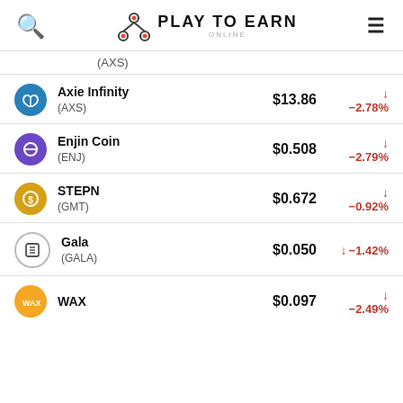Play To Earn Online
(AXS)
| Coin | Price | Change |
| --- | --- | --- |
| Axie Infinity (AXS) | $13.86 | −2.78% |
| Enjin Coin (ENJ) | $0.508 | −2.79% |
| STEPN (GMT) | $0.672 | −0.92% |
| Gala (GALA) | $0.050 | −1.42% |
| WAX | $0.097 | −2.49% |